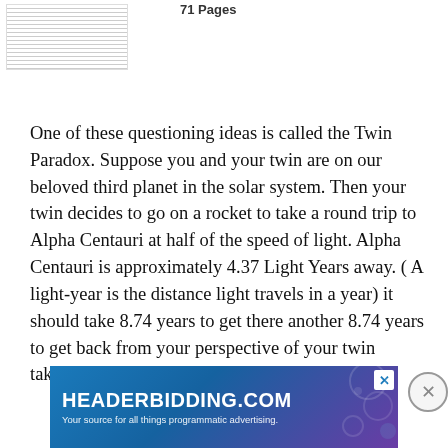[Figure (screenshot): Small thumbnail image of a document page with text lines]
71 Pages
One of these questioning ideas is called the Twin Paradox. Suppose you and your twin are on our beloved third planet in the solar system. Then your twin decides to go on a rocket to take a round trip to Alpha Centauri at half of the speed of light. Alpha Centauri is approximately 4.37 Light Years away. ( A light-year is the distance light travels in a year) it should take 8.74 years to get there another 8.74 years to get back from your perspective of your twin taking the trip. From your twins…
[Figure (other): Read More button - teal rounded rectangle button with white text]
[Figure (other): Close button - circular X button]
[Figure (other): HEADERBIDDING.COM advertisement banner - blue/purple gradient with white text reading Your source for all things programmatic advertising.]